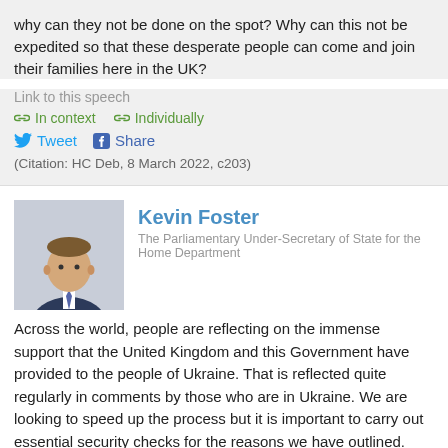why can they not be done on the spot? Why can this not be expedited so that these desperate people can come and join their families here in the UK?
Link to this speech
In context   Individually
Tweet   Share
(Citation: HC Deb, 8 March 2022, c203)
Kevin Foster
The Parliamentary Under-Secretary of State for the Home Department
Across the world, people are reflecting on the immense support that the United Kingdom and this Government have provided to the people of Ukraine. That is reflected quite regularly in comments by those who are in Ukraine. We are looking to speed up the process but it is important to carry out essential security checks for the reasons we have outlined.
Link to this speech
In context   Individually